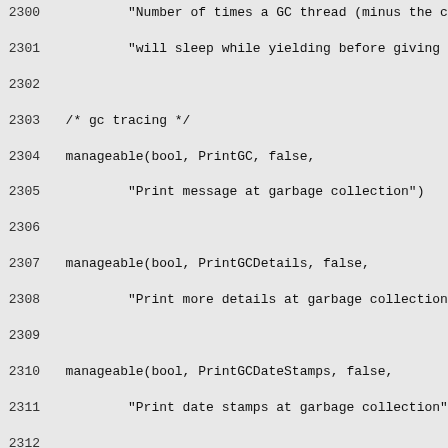[Figure (screenshot): Source code listing showing lines 2300-2329 of a C/C++ file defining JVM GC (garbage collection) flags using manageable(), product(), and develop() macros. Background is light gray, monospace font.]